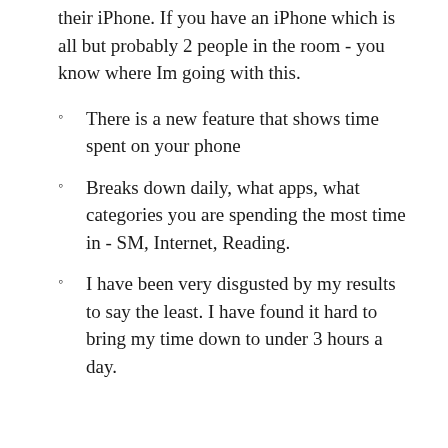their iPhone. If you have an iPhone which is all but probably 2 people in the room - you know where Im going with this.
There is a new feature that shows time spent on your phone
Breaks down daily, what apps, what categories you are spending the most time in - SM, Internet, Reading.
I have been very disgusted by my results to say the least. I have found it hard to bring my time down to under 3 hours a day.